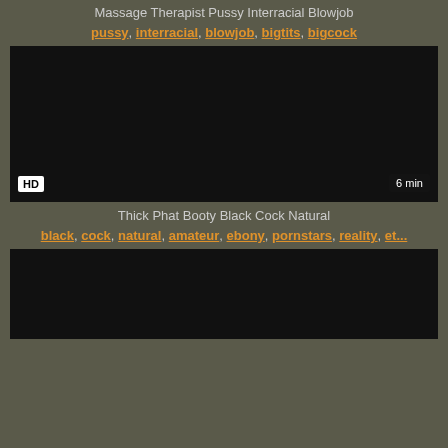Massage Therapist Pussy Interracial Blowjob
pussy, interracial, blowjob, bigtits, bigcock
[Figure (screenshot): Dark video thumbnail with HD badge and 6 min duration label]
Thick Phat Booty Black Cock Natural
black, cock, natural, amateur, ebony, pornstars, reality, et...
[Figure (screenshot): Dark video thumbnail at bottom of page]